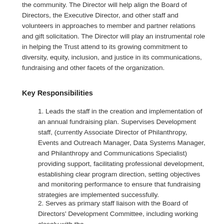the community. The Director will help align the Board of Directors, the Executive Director, and other staff and volunteers in approaches to member and partner relations and gift solicitation. The Director will play an instrumental role in helping the Trust attend to its growing commitment to diversity, equity, inclusion, and justice in its communications, fundraising and other facets of the organization.
Key Responsibilities
1. Leads the staff in the creation and implementation of an annual fundraising plan. Supervises Development staff, (currently Associate Director of Philanthropy, Events and Outreach Manager, Data Systems Manager, and Philanthropy and Communications Specialist) providing support, facilitating professional development, establishing clear program direction, setting objectives and monitoring performance to ensure that fundraising strategies are implemented successfully.
2. Serves as primary staff liaison with the Board of Directors' Development Committee, including working closely with the